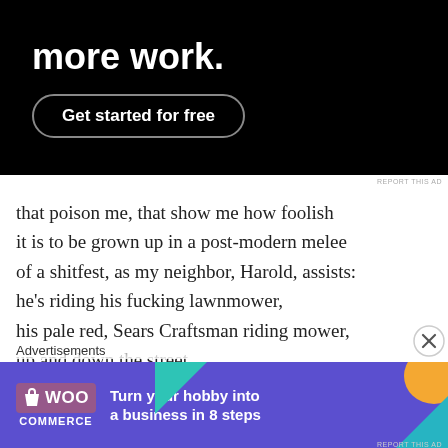[Figure (screenshot): Advertisement banner with black background showing 'more work.' headline text and 'Get started for free' button]
REPORT THIS AD
that poison me, that show me how foolish
it is to be grown up in a post-modern melee
of a shitfest, as my neighbor, Harold, assists:
he's riding his fucking lawnmower,
his pale red, Sears Craftsman riding mower,
up and down the street.
No shit, up and down the street,
Advertisements
[Figure (screenshot): WooCommerce advertisement with purple background: 'Turn your hobby into a business in 8 steps']
REPORT THIS AD